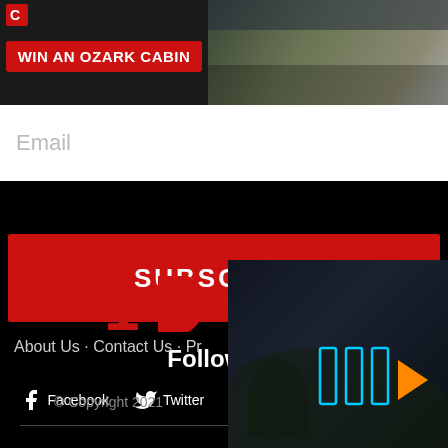[Figure (screenshot): Banner advertisement: WIN AN OZARK CABIN with red button, cabin photo on right, logo top left]
Email
SUBSCRIBE
Follow Us
Facebook · Twitter · YouTube · Instagram
[Figure (logo): 13 news logo in red]
About Us · Contact Us · Pr
© Copyright 2021
[Figure (infographic): Media player play buttons in cyan/blue with orange arrow, dark background with trees silhouette]